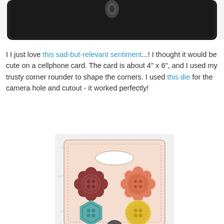[Figure (photo): Top portion of a cellphone card showing black top area with a small camera lens cutout visible against white background]
I I just love this sad-but-relevant sentiment...! I thought it would be cute on a cellphone card. The card is about 4" x 6", and I used my trusty corner rounder to shape the corners. I used this die for the camera hole and cutout - it worked perfectly!
[Figure (photo): Product packaging card showing four decorative flower-shaped buttons in muted colors: dark red/maroon flower button, orange flower button, teal hexagon button, and yellow scalloped circle button, arranged on a light pink card with dotted border and oval label at top. Watermark text visible in background.]